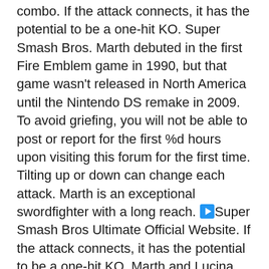combo. If the attack connects, it has the potential to be a one-hit KO. Super Smash Bros. Marth debuted in the first Fire Emblem game in 1990, but that game wasn't released in North America until the Nintendo DS remake in 2009. To avoid griefing, you will not be able to post or report for the first %d hours upon visiting this forum for the first time. Tilting up or down can change each attack. Marth is an exceptional swordfighter with a long reach. ▶Super Smash Bros Ultimate Official Website. If the attack connects, it has the potential to be a one-hit KO. Marth and Lucina are two different characters but they both share the same moves since they are from the same world. Smash Ultimate Marth & Lucina Guide – Moves, Outfits, Strengths, Weaknesses, Playing Marth feels as natural as ever. Deals the most damage at the start. Hopefully this guide to Lucina and Marth will prepare you for the trials ahead. Marth (㊙㊙㊙, Marth) is a playable character in Super Smash Bros. Marth is